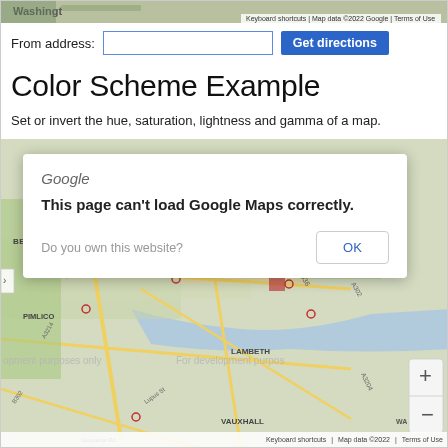[Figure (screenshot): Top strip of a Google Map showing part of Washington area with keyboard shortcuts and map data notice]
From address:
[Figure (screenshot): Google Maps embedded page showing a dialog: 'This page can't load Google Maps correctly.' with OK button and map of London (Westminster, Belgravia, Pimlico, Lambeth, Vauxhall) underneath. Map data ©2022 Google. Keyboard shortcuts and Terms of Use shown.]
Color Scheme Example
Set or invert the hue, saturation, lightness and gamma of a map.